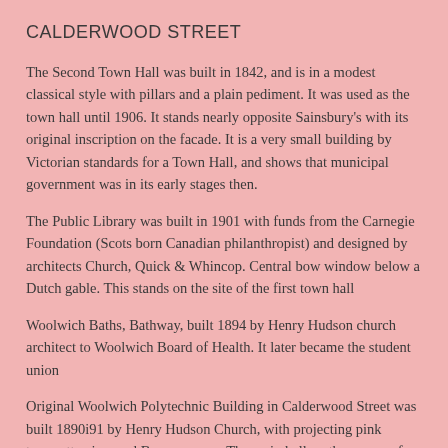CALDERWOOD STREET
The Second Town Hall was built in 1842, and is in a modest classical style with pillars and a plain pediment. It was used as the town hall until 1906. It stands nearly opposite Sainsbury’s with its original inscription on the facade. It is a very small building by Victorian standards for a Town Hall, and shows that municipal government was in its early stages then.
The Public Library was built in 1901 with funds from the Carnegie Foundation (Scots born Canadian philanthropist) and designed by architects Church, Quick & Whincop. Central bow window below a Dutch gable. This stands on the site of the first town hall
Woolwich Baths, Bathway, built 1894 by Henry Hudson church architect to Woolwich Board of Health. It later became the student union
Original Woolwich Polytechnic Building in Calderwood Street was built 1890i91 by Henry Hudson Church, with projecting pink terracotta piers and Baroque caps. The main hall on the corner of Calderwood and Polytechnic streets was added in 1935 by J C Anderson. The Polytechnic was founded in 1890 by Quintin Hogg as The Woolwich Polytechnic Young Men’s Christian Institute (see